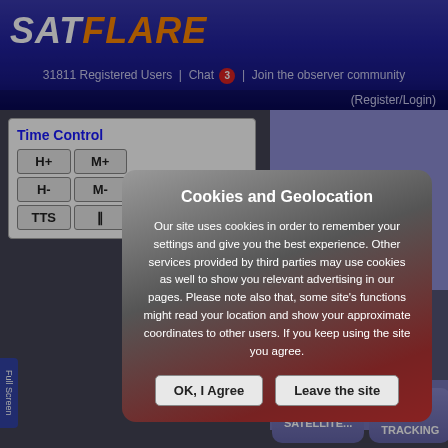SATFLARE — 31811 Registered Users | Chat 3 | Join the observer community (Register/Login)
Time Control
H+ M+ H- M- TTS ||
Cookies and Geolocation
Our site uses cookies in order to remember your settings and give you the best experience. Other services provided by third parties may use cookies as well to show you relevant advertising in our pages. Please note also that, some site's functions might read your location and show your approximate coordinates to other users. If you keep using the site you agree.
OK, I Agree    Leave the site
Lock on satellite   Process only the
CHANGE SATELLITE...   REAL TIME TRACKING